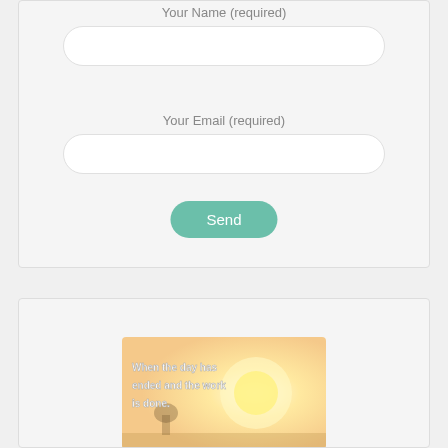Your Name (required)
Your Email (required)
Send
[Figure (illustration): Warm sunset-toned inspirational image with text overlay reading 'When the day has ended and the work is done.']